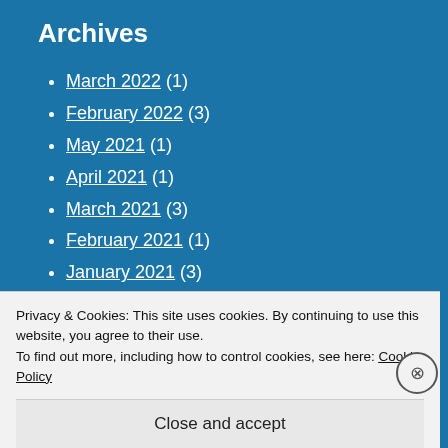Archives
March 2022 (1)
February 2022 (3)
May 2021 (1)
April 2021 (1)
March 2021 (3)
February 2021 (1)
January 2021 (3)
December 2020 (1)
November 2020 (1)
Privacy & Cookies: This site uses cookies. By continuing to use this website, you agree to their use.
To find out more, including how to control cookies, see here: Cookie Policy
Close and accept